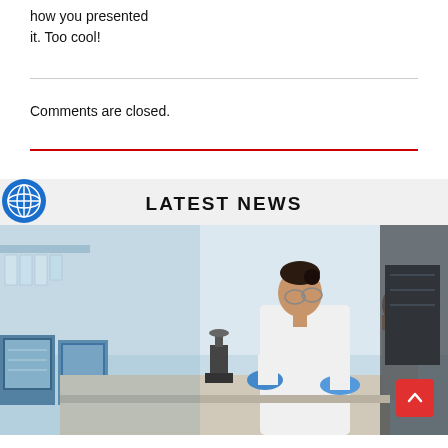how you presented it. Too cool!
Comments are closed.
LATEST NEWS
[Figure (photo): A scientist in a white lab coat and blue gloves looking into a microscope in a laboratory setting, with lab equipment and another person visible in the background.]